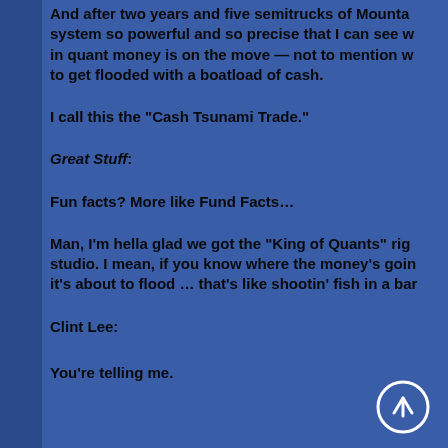And after two years and five semitrucks of Mounta... system so powerful and so precise that I can see w... in quant money is on the move — not to mention w... to get flooded with a boatload of cash.
I call this the “Cash Tsunami Trade.”
Great Stuff:
Fun facts? More like Fund Facts…
Man, I’m hella glad we got the “King of Quants” rig... studio. I mean, if you know where the money’s goin... it’s about to flood … that’s like shootin’ fish in a bar...
Clint Lee:
You’re telling me.